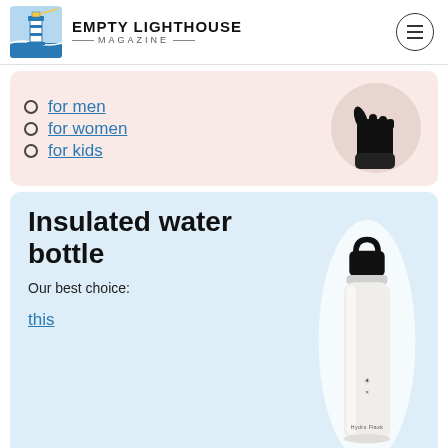EMPTY LIGHTHOUSE MAGAZINE
for men
for women
for kids
[Figure (photo): Black winter gloves on a pink/circular background]
Insulated water bottle
Our best choice:
this
[Figure (photo): White Hydro Flask insulated water bottle on a light blue background with white oval highlight]